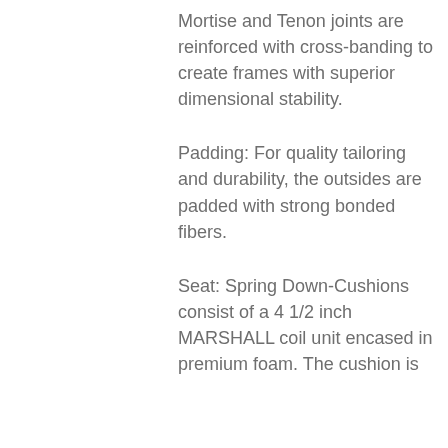Mortise and Tenon joints are reinforced with cross-banding to create frames with superior dimensional stability.
Padding: For quality tailoring and durability, the outsides are padded with strong bonded fibers.
Seat: Spring Down-Cushions consist of a 4 1/2 inch MARSHALL coil unit encased in premium foam. The cushion is